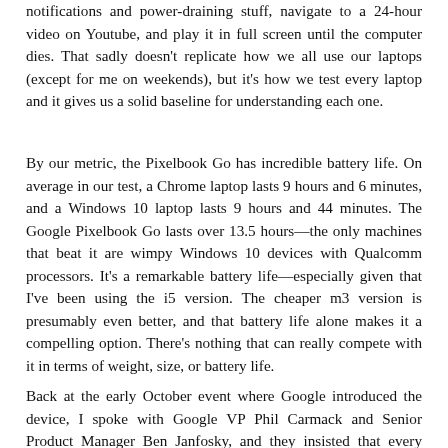notifications and power-draining stuff, navigate to a 24-hour video on Youtube, and play it in full screen until the computer dies. That sadly doesn't replicate how we all use our laptops (except for me on weekends), but it's how we test every laptop and it gives us a solid baseline for understanding each one.
By our metric, the Pixelbook Go has incredible battery life. On average in our test, a Chrome laptop lasts 9 hours and 6 minutes, and a Windows 10 laptop lasts 9 hours and 44 minutes. The Google Pixelbook Go lasts over 13.5 hours—the only machines that beat it are wimpy Windows 10 devices with Qualcomm processors. It's a remarkable battery life—especially given that I've been using the i5 version. The cheaper m3 version is presumably even better, and that battery life alone makes it a compelling option. There's nothing that can really compete with it in terms of weight, size, or battery life.
Back at the early October event where Google introduced the device, I spoke with Google VP Phil Carmack and Senior Product Manager Ben Janfosky, and they insisted that every element of the Pixelbook Go was about creating a device...